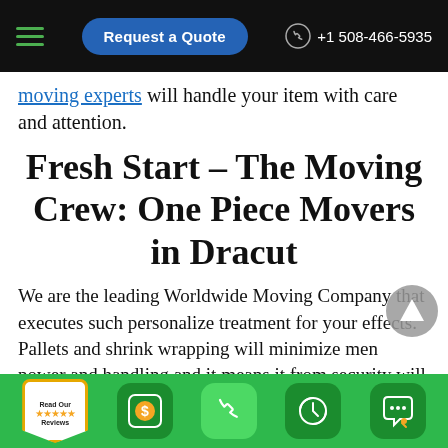Request a Quote | +1 508-466-5935
moving experts will handle your item with care and attention.
Fresh Start – The Moving Crew: One Piece Movers in Dracut
We are the leading Worldwide Moving Company that executes such personalize treatment for your effects. Pallets and shrink wrapping will minimize men power and handling and it means it from security will
Read Our Reviews | $ icon | Phone icon | Clock icon | Chat icon